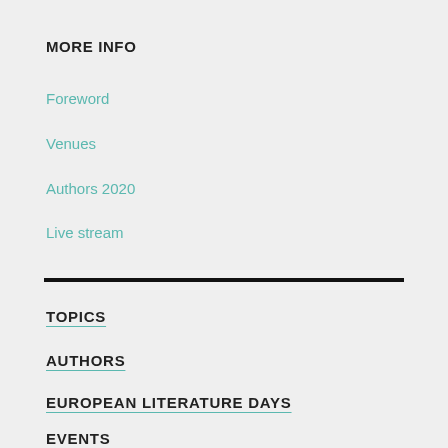MORE INFO
Foreword
Venues
Authors 2020
Live stream
TOPICS
AUTHORS
EUROPEAN LITERATURE DAYS
EVENTS